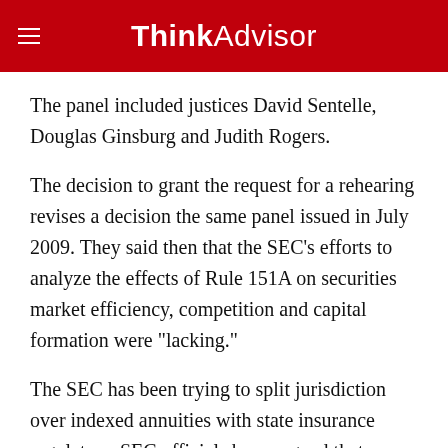ThinkAdvisor
The panel included justices David Sentelle, Douglas Ginsburg and Judith Rogers.
The decision to grant the request for a rehearing revises a decision the same panel issued in July 2009. They said then that the SEC’s efforts to analyze the effects of Rule 151A on securities market efficiency, competition and capital formation were “lacking.”
The SEC has been trying to split jurisdiction over indexed annuities with state insurance regulators. SEC officials have argued that indexed annuities